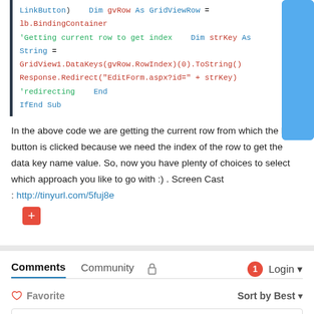LinkButton)    Dim gvRow As GridViewRow = lb.BindingContainer
'Getting current row to get index    Dim strKey As String =
GridView1.DataKeys(gvRow.RowIndex)(0).ToString()
Response.Redirect("EditForm.aspx?id=" + strKey) 'redirecting    End
IfEnd Sub
In the above code we are getting the current row from which the link button is clicked because we need the index of the row to get the data key name value. So, now you have plenty of choices to select which approach you like to go with :) . Screen Cast : http://tinyurl.com/5fuj8e
Comments
Community
Favorite
Sort by Best
Start the discussion...
LOG IN WITH